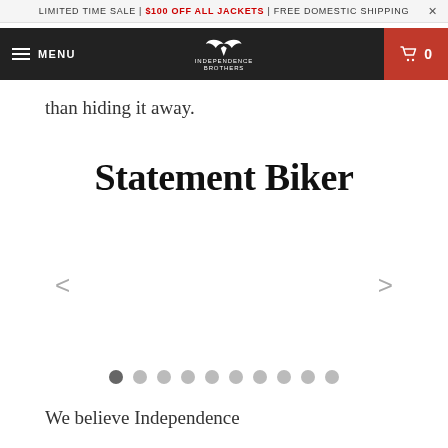LIMITED TIME SALE | $100 OFF ALL JACKETS | FREE DOMESTIC SHIPPING ×
MENU | Independence Brothers | 0
than hiding it away.
Statement Biker
[Figure (screenshot): Slider navigation with left and right chevron arrows and 10 pagination dots, first dot active/dark]
We believe Independence